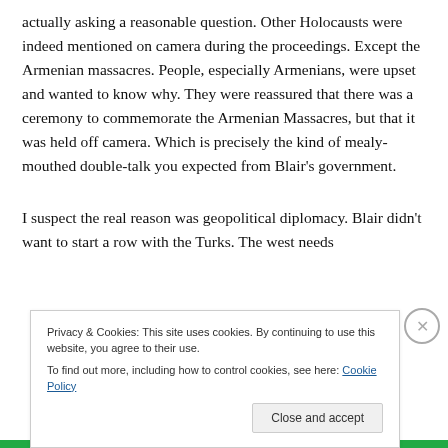actually asking a reasonable question. Other Holocausts were indeed mentioned on camera during the proceedings. Except the Armenian massacres. People, especially Armenians, were upset and wanted to know why. They were reassured that there was a ceremony to commemorate the Armenian Massacres, but that it was held off camera. Which is precisely the kind of mealy-mouthed double-talk you expected from Blair's government.

I suspect the real reason was geopolitical diplomacy. Blair didn't want to start a row with the Turks. The west needs
Privacy & Cookies: This site uses cookies. By continuing to use this website, you agree to their use.
To find out more, including how to control cookies, see here: Cookie Policy

Close and accept